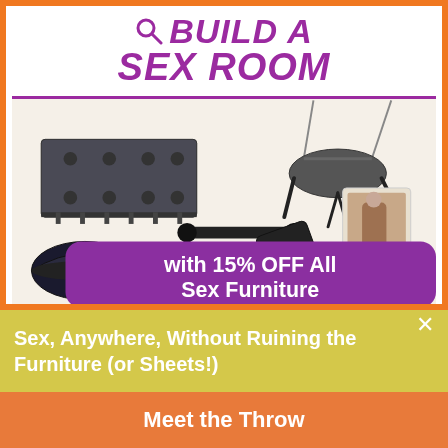BUILD A SEX ROOM
[Figure (photo): Advertisement image showing various adult furniture and intimacy products including a bondage board, sex swing, spreader bar, wedge cushion, paddle, and product packaging, with a purple promotional overlay]
with 15% OFF All Sex Furniture
Sex, Anywhere, Without Ruining the Furniture (or Sheets!)
Meet the Throw